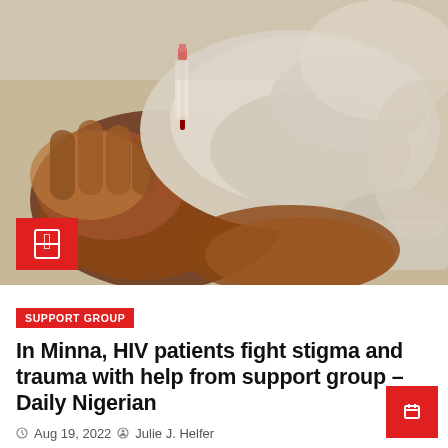[Figure (photo): Close-up photo of a medical professional in white latex gloves drawing blood from a patient's dark-skinned hand/arm with a red-tipped syringe or lancet.]
SUPPORT GROUP
In Minna, HIV patients fight stigma and trauma with help from support group – Daily Nigerian
Aug 19, 2022  Julie J. Helfer
By Victor Akuma In 2000, Dejah Osman contracted the human immunodeficiency virus,